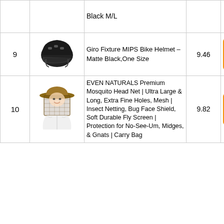| # | Image | Product Name | Score |  |
| --- | --- | --- | --- | --- |
|  |  | Black M/L |  |  |
| 9 | [helmet image] | Giro Fixture MIPS Bike Helmet – Matte Black,One Size | 9.46 | Check Price |
| 10 | [mosquito net image] | EVEN NATURALS Premium Mosquito Head Net | Ultra Large & Long, Extra Fine Holes, Mesh | Insect Netting, Bug Face Shield, Soft Durable Fly Screen | Protection for No-See-Um, Midges, & Gnats | Carry Bag | 9.82 | Check Price |